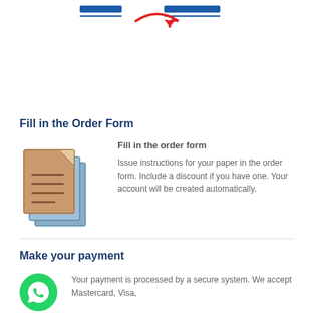[Figure (logo): Partial logo at top with blue underline text and red arrow/swoosh element]
Fill in the Order Form
[Figure (illustration): Stack of documents/order forms icon in brown and blue colors]
Fill in the order form
Issue instructions for your paper in the order form. Include a discount if you have one. Your account will be created automatically.
Make your payment
[Figure (logo): WhatsApp green circle logo with phone icon]
Your payment is processed by a secure system. We accept Mastercard, Visa,